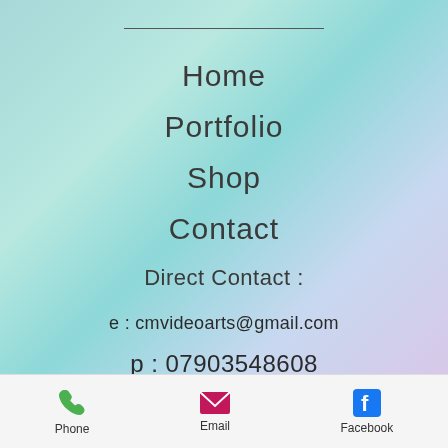Home
Portfolio
Shop
Contact
Direct Contact :
e : cmvideoarts@gmail.com
p : 07903548608
Phone   Email   Facebook